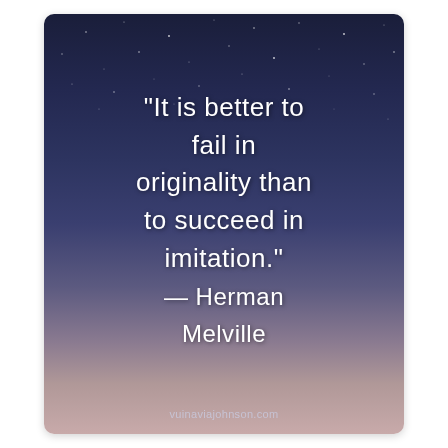[Figure (illustration): Inspirational quote card with a night sky to twilight gradient background with faint stars, displaying a Herman Melville quote in white text on a dark blue/purple to rose background.]
“It is better to fail in originality than to succeed in imitation.” — Herman Melville
vuinaviajohnson.com